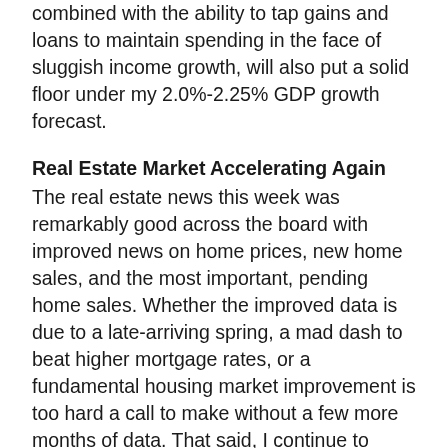On the other hand, rock solid consumption trends, combined with the ability to tap gains and loans to maintain spending in the face of sluggish income growth, will also put a solid floor under my 2.0%-2.25% GDP growth forecast.
Real Estate Market Accelerating Again
The real estate news this week was remarkably good across the board with improved news on home prices, new home sales, and the most important, pending home sales. Whether the improved data is due to a late-arriving spring, a mad dash to beat higher mortgage rates, or a fundamental housing market improvement is too hard a call to make without a few more months of data. That said, I continue to believe the housing market has years of improvement in front of it, but tight credit and inventories will likely limit the potential for sharply accelerating rates of...